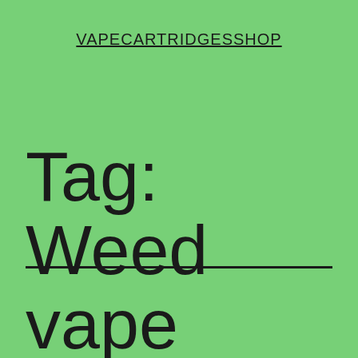VAPECARTRIDGESSHOP
Tag: Weed vape